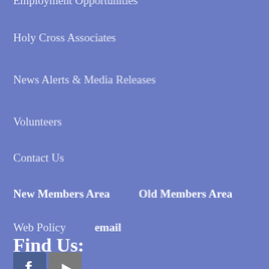Employment Opportunities
Holy Cross Associates
News Alerts & Media Releases
Volunteers
Contact Us
New Members Area    Old Members Area
Web Policy    email
Find Us:
[Figure (illustration): Social media icons: Facebook and YouTube]